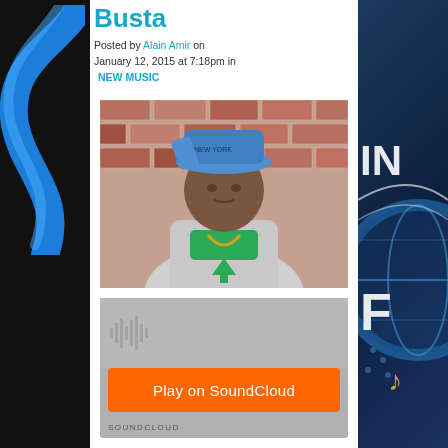Busta
Posted by Alain Amir on January 12, 2015 at 7:18pm in NEW MUSIC
[Figure (photo): Man wearing a blue cap and gray hoodie with green shirt standing in front of a brick wall]
[Figure (screenshot): SoundCloud embedded player with orange Play on SoundCloud button]